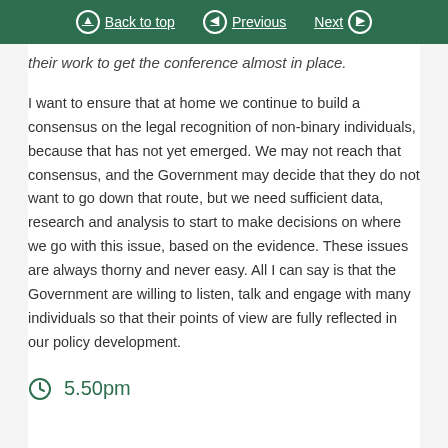Back to top | Previous | Next
their work to get the conference almost in place.
I want to ensure that at home we continue to build a consensus on the legal recognition of non-binary individuals, because that has not yet emerged. We may not reach that consensus, and the Government may decide that they do not want to go down that route, but we need sufficient data, research and analysis to start to make decisions on where we go with this issue, based on the evidence. These issues are always thorny and never easy. All I can say is that the Government are willing to listen, talk and engage with many individuals so that their points of view are fully reflected in our policy development.
5.50pm